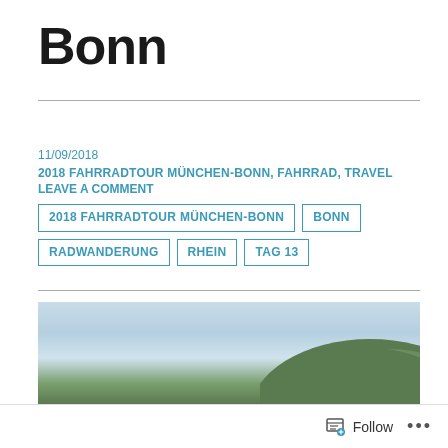Bonn
11/09/2018
2018 FAHRRADTOUR MÜNCHEN-BONN, FAHRRAD, TRAVEL
LEAVE A COMMENT
2018 FAHRRADTOUR MÜNCHEN-BONN
BONN
RADWANDERUNG
RHEIN
TAG 13
[Figure (photo): Landscape photo showing a sky with light clouds and a green forested hill in the lower right corner, likely along the Rhine river near Bonn.]
Follow ...